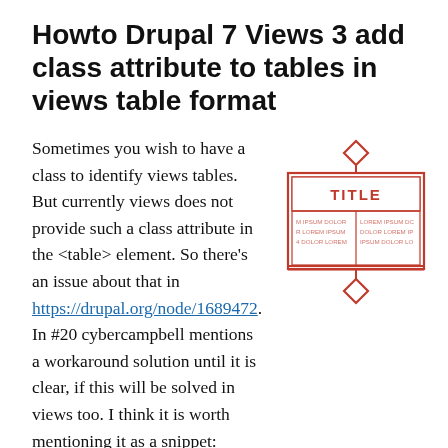Howto Drupal 7 Views 3 add class attribute to tables in views table format
[Figure (illustration): A decorative diagram of a table layout with a red border, 'TITLE' in red bold text in a header cell, and two columns of lorem ipsum placeholder text below, with diamond decorations at top and bottom center.]
Sometimes you wish to have a class to identify views tables. But currently views does not provide such a class attribute in the <table> element. So there's an issue about that in https://drupal.org/node/1689472. In #20 cybercampbell mentions a workaround solution until it is clear, if this will be solved in views too. I think it is worth mentioning it as a snippet:
Attributes,  Classes,  CSS,  Drupal 7,  Snippets,